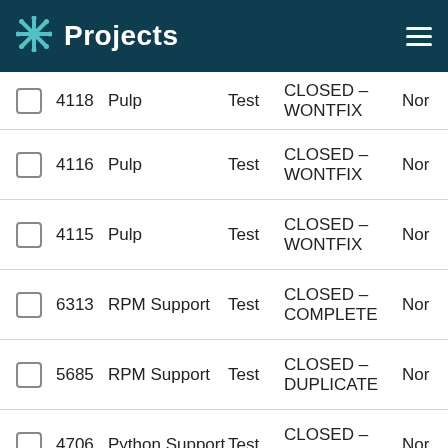Projects
|  | ID | Project | Type | Status |  |
| --- | --- | --- | --- | --- | --- |
|  | 4118 | Pulp | Test | CLOSED – WONTFIX | Nor |
|  | 4116 | Pulp | Test | CLOSED – WONTFIX | Nor |
|  | 4115 | Pulp | Test | CLOSED – WONTFIX | Nor |
|  | 6313 | RPM Support | Test | CLOSED – COMPLETE | Nor |
|  | 5685 | RPM Support | Test | CLOSED – DUPLICATE | Nor |
|  | 4706 | Python Support | Test | CLOSED – COMPLETE | Nor |
|  | 4682 | Python Support | Test | MODIFIED | Nor |